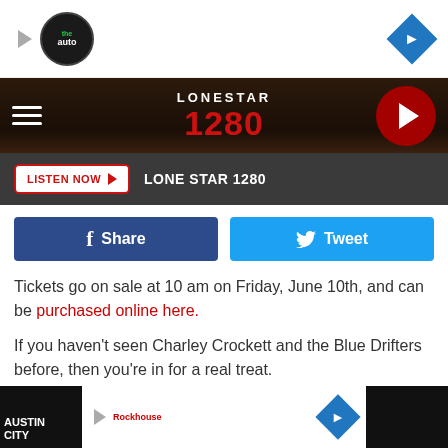[Figure (screenshot): Advertisement banner with auto service logo and blue arrow diamond]
LONESTAR 1280
[Figure (screenshot): Listen Now button with LONE STAR 1280 text on dark bar]
[Figure (screenshot): Facebook Share and Twitter Tweet social buttons]
Tickets go on sale at 10 am on Friday, June 10th, and can be purchased online here.
If you haven't seen Charley Crockett and the Blue Drifters before, then you're in for a real treat.
Here's a sample of what to expect on August 25th at the Paramount.
[Figure (screenshot): Bottom advertisement banner with Austin City logo and navigation diamond]